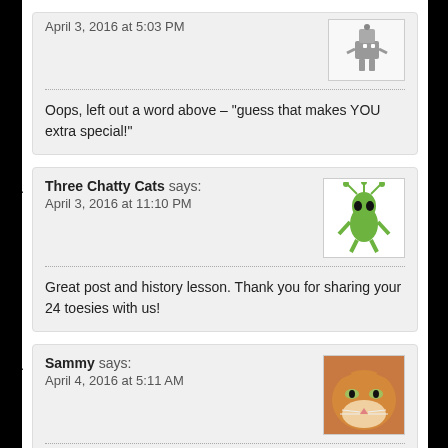April 3, 2016 at 5:03 PM
Oops, left out a word above – “guess that makes YOU extra special!”
39. Three Chatty Cats says: April 3, 2016 at 11:10 PM
Great post and history lesson. Thank you for sharing your 24 toesies with us!
40. Sammy says: April 4, 2016 at 5:11 AM
YAY Ernie! So close to the poly record too………….you have me beat too buddy. I don’t have as many “extras” as you do but still, my Mom loves each and every one of my toesies too.

Hugs, Sammy